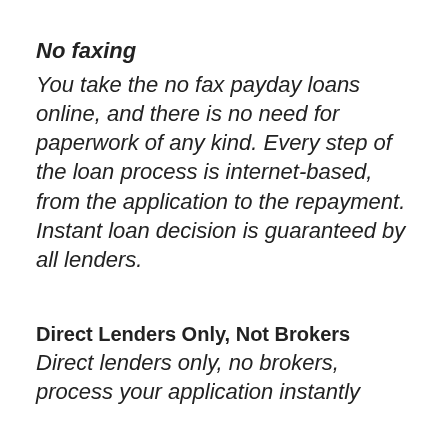No faxing
You take the no fax payday loans online, and there is no need for paperwork of any kind. Every step of the loan process is internet-based, from the application to the repayment. Instant loan decision is guaranteed by all lenders.
Direct Lenders Only, Not Brokers
Direct lenders only, no brokers, process your application instantly